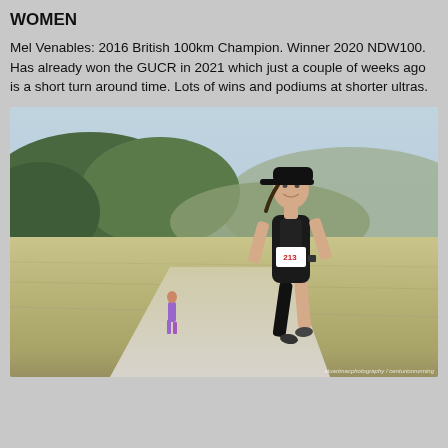WOMEN
Mel Venables: 2016 British 100km Champion. Winner 2020 NDW100. Has already won the GUCR in 2021 which just a couple of weeks ago is a short turn around time. Lots of wins and podiums at shorter ultras.
[Figure (photo): A female runner wearing race bib number 213, a black cap, black running vest and shorts, running along a grassy path with rolling hills and trees in the background. A second runner is visible far in the background. Photo credit: stuartmacphotography / centurionrunning]